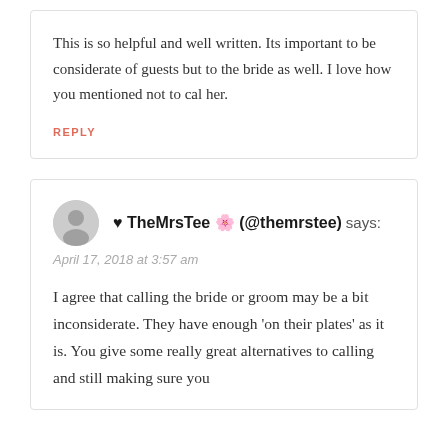This is so helpful and well written. Its important to be considerate of guests but to the bride as well. I love how you mentioned not to cal her.
REPLY
♥ TheMrsTee 🌸 (@themrstee) says:
April 17, 2018 at 3:57 am
I agree that calling the bride or groom may be a bit inconsiderate. They have enough 'on their plates' as it is. You give some really great alternatives to calling and still making sure you